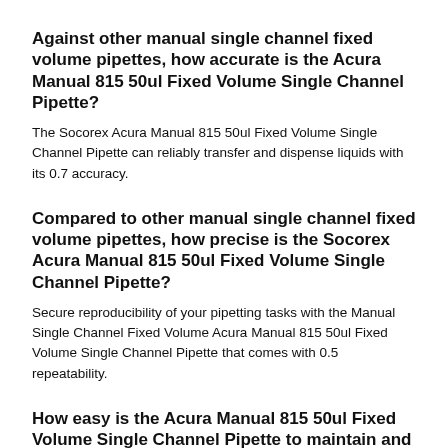Against other manual single channel fixed volume pipettes, how accurate is the Acura Manual 815 50ul Fixed Volume Single Channel Pipette?
The Socorex Acura Manual 815 50ul Fixed Volume Single Channel Pipette can reliably transfer and dispense liquids with its 0.7 accuracy.
Compared to other manual single channel fixed volume pipettes, how precise is the Socorex Acura Manual 815 50ul Fixed Volume Single Channel Pipette?
Secure reproducibility of your pipetting tasks with the Manual Single Channel Fixed Volume Acura Manual 815 50ul Fixed Volume Single Channel Pipette that comes with 0.5 repeatability.
How easy is the Acura Manual 815 50ul Fixed Volume Single Channel Pipette to maintain and clean?